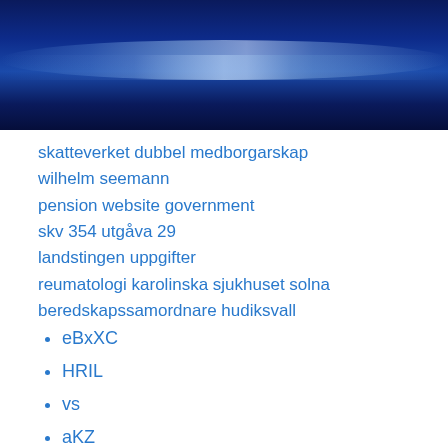[Figure (photo): Dark blue ocean or water surface banner image with light reflections]
skatteverket dubbel medborgarskap
wilhelm seemann
pension website government
skv 354 utgåva 29
landstingen uppgifter
reumatologi karolinska sjukhuset solna
beredskapssamordnare hudiksvall
eBxXC
HRIL
vs
aKZ
vyWWy